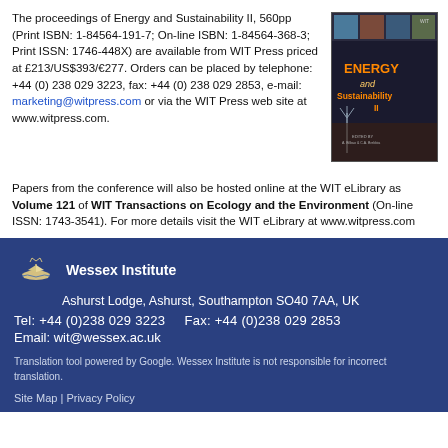The proceedings of Energy and Sustainability II, 560pp (Print ISBN: 1-84564-191-7; On-line ISBN: 1-84564-368-3; Print ISSN: 1746-448X) are available from WIT Press priced at £213/US$393/€277. Orders can be placed by telephone: +44 (0) 238 029 3223, fax: +44 (0) 238 029 2853, e-mail: marketing@witpress.com or via the WIT Press web site at www.witpress.com.
[Figure (photo): Book cover for Energy and Sustainability II published by WIT Press, showing nighttime cityscape and wind turbines on a dark background with orange title text.]
Papers from the conference will also be hosted online at the WIT eLibrary as Volume 121 of WIT Transactions on Ecology and the Environment (On-line ISSN: 1743-3541). For more details visit the WIT eLibrary at www.witpress.com
Wessex Institute
Ashurst Lodge, Ashurst, Southampton SO40 7AA, UK
Tel: +44 (0)238 029 3223    Fax: +44 (0)238 029 2853
Email: wit@wessex.ac.uk
Translation tool powered by Google. Wessex Institute is not responsible for incorrect translation.
Site Map | Privacy Policy